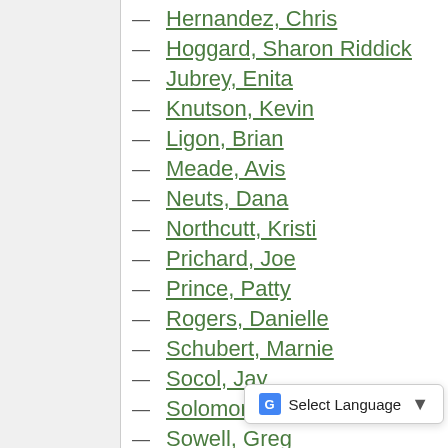Hernandez, Chris
Hoggard, Sharon Riddick
Jubrey, Enita
Knutson, Kevin
Ligon, Brian
Meade, Avis
Neuts, Dana
Northcutt, Kristi
Prichard, Joe
Prince, Patty
Rogers, Danielle
Schubert, Marnie
Socol, Jay
Solomon, Pam
Sowell, Greg
Sturges, Jenet
Vana, Jennie